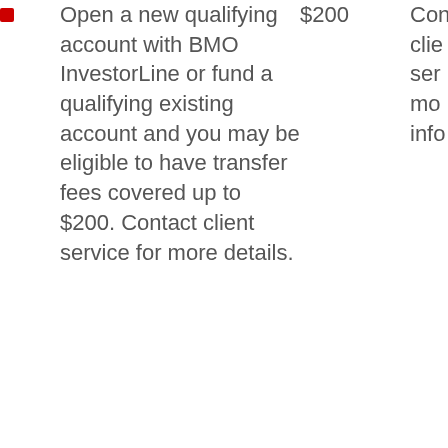|  | Description | Amount | Details |
| --- | --- | --- | --- |
| ■ | Open a new qualifying account with BMO InvestorLine or fund a qualifying existing account and you may be eligible to have transfer fees covered up to $200. Contact client service for more details. | $200 | Con... clie... ser... mo... info... |